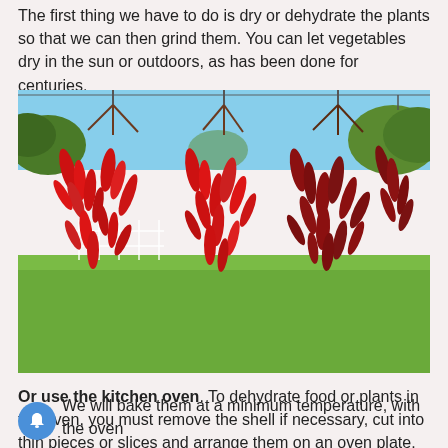The first thing we have to do is dry or dehydrate the plants so that we can then grind them. You can let vegetables dry in the sun or outdoors, as has been done for centuries.
[Figure (photo): Bunches of red chili peppers hanging outdoors to dry, with green trees and grass in the background and a blue sky.]
Or use the kitchen oven. To dehydrate food or plants in the oven, you must remove the shell if necessary, cut into thin pieces or slices and arrange them on an oven plate.
We will bake them at a minimum temperature, with the oven